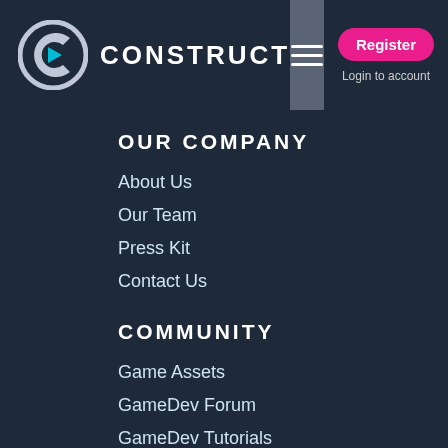[Figure (logo): Construct logo with C icon and CONSTRUCT text in header]
OUR COMPANY
About Us
Our Team
Press Kit
Contact Us
COMMUNITY
Game Assets
GameDev Forum
GameDev Tutorials
GameDev Blogs
Free Online Arcade